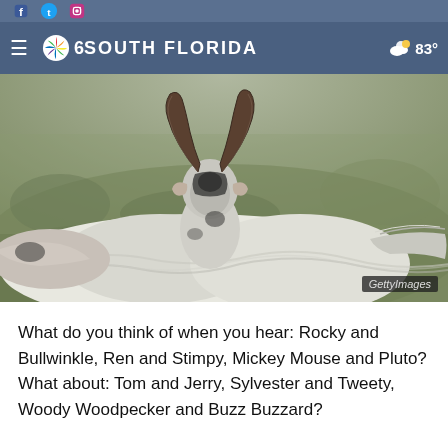NBC 6 South Florida  83°
[Figure (photo): Two goats with long curved horns seen from behind, with white/grey fur, standing in a field. A Getty Images watermark is visible in the lower right corner.]
What do you think of when you hear: Rocky and Bullwinkle, Ren and Stimpy, Mickey Mouse and Pluto? What about: Tom and Jerry, Sylvester and Tweety, Woody Woodpecker and Buzz Buzzard?